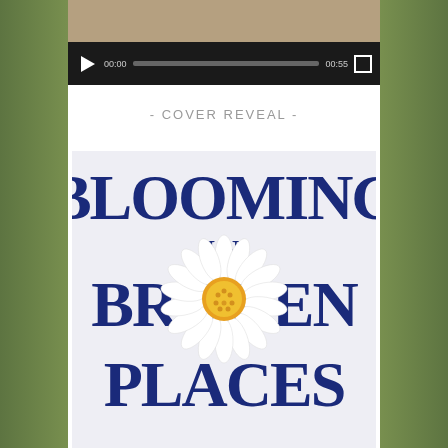[Figure (screenshot): Video player screenshot showing a blurred garden/outdoor scene with a dark controls bar at the bottom. Controls show a play button, start time 00:00, a progress bar, end time 00:55, and a fullscreen button.]
- COVER REVEAL -
[Figure (illustration): Book cover for 'Blooming in Broken Places' with large dark navy serif text on a light background. A white daisy flower with a yellow center is positioned in the middle of the cover, overlapping the text.]